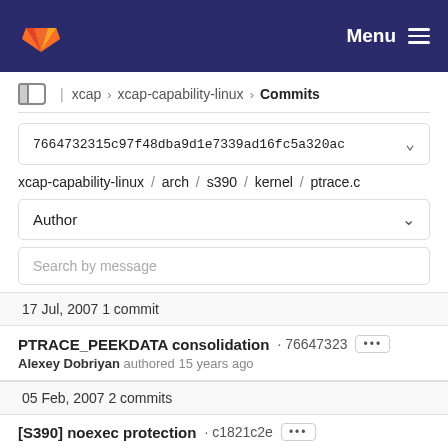GitLab — Menu
xcap › xcap-capability-linux › Commits
7664732315c97f48dba9d1e7339ad16fc5a320ac
xcap-capability-linux / arch / s390 / kernel / ptrace.c
Author
Search by message
17 Jul, 2007 1 commit
PTRACE_PEEKDATA consolidation · 76647323
Alexey Dobriyan authored 15 years ago
05 Feb, 2007 2 commits
[S390] noexec protection · c1821c2e